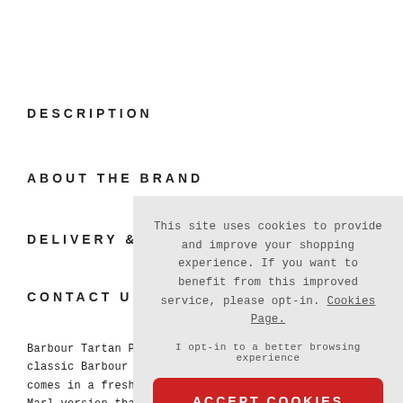DESCRIPTION
ABOUT THE BRAND
DELIVERY & R
CONTACT US
Barbour Tartan Pic classic Barbour po comes in a fresh ar Marl version that comfortable fit, a two button placket with Barbour branded
This site uses cookies to provide and improve your shopping experience. If you want to benefit from this improved service, please opt-in. Cookies Page.

I opt-in to a better browsing experience

ACCEPT COOKIES